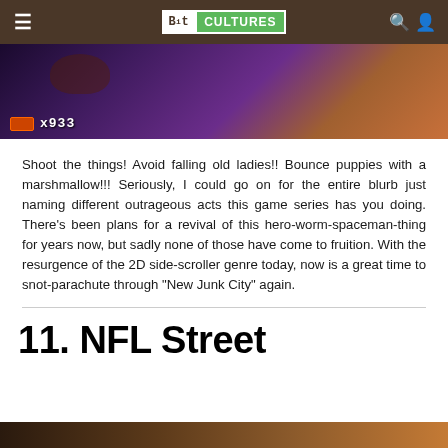Bit Cultures
[Figure (screenshot): Video game screenshot showing a dark purple fantasy scene with HUD displaying x933 score/counter]
Shoot the things! Avoid falling old ladies!! Bounce puppies with a marshmallow!!! Seriously, I could go on for the entire blurb just naming different outrageous acts this game series has you doing. There's been plans for a revival of this hero-worm-spaceman-thing for years now, but sadly none of those have come to fruition. With the resurgence of the 2D side-scroller genre today, now is a great time to snot-parachute through “New Junk City” again.
11. NFL Street
[Figure (screenshot): Partial screenshot visible at bottom of page]